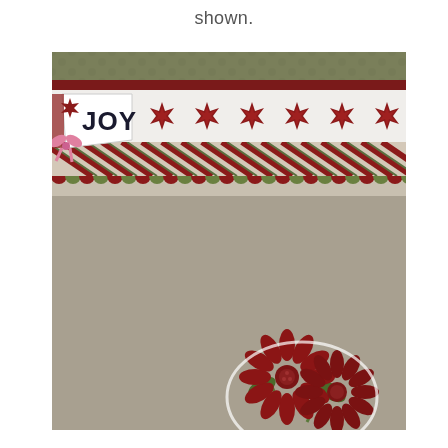shown.
[Figure (photo): A Christmas-themed scrapbook page with decorative borders. The top portion shows layered paper strips: an olive green patterned strip, a dark red strip, a white band with red poinsettia flowers, a candy-stripe diagonal pattern strip in red and green, and a scalloped edge strip in red and green dots. On the left side, a white pennant banner with black letters reads 'JOY' decorated with a pink ribbon bow and poinsettia. Below the borders is a large taupe/khaki colored card stock. In the lower right corner is a cluster of two dark red/maroon daisy-like flowers (possibly gerbera daisies or chrysanthemums) with green leaves, cut out and adhered to the page.]